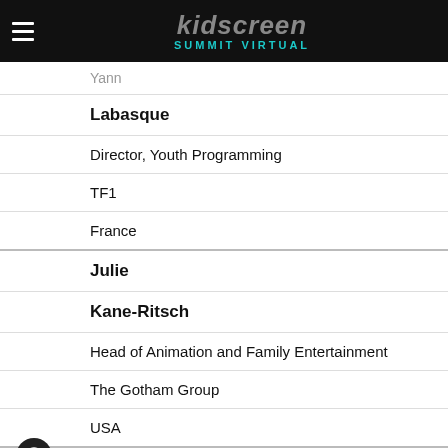kidscreen SUMMIT VIRTUAL
Yann
Labasque
Director, Youth Programming
TF1
France
Julie
Kane-Ritsch
Head of Animation and Family Entertainment
The Gotham Group
USA
Maggie